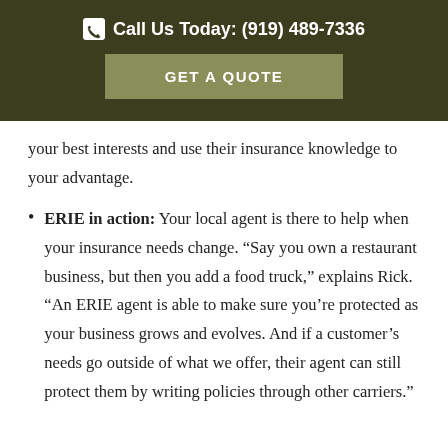Call Us Today: (919) 489-7336
GET A QUOTE
your best interests and use their insurance knowledge to your advantage.
ERIE in action: Your local agent is there to help when your insurance needs change. “Say you own a restaurant business, but then you add a food truck,” explains Rick. “An ERIE agent is able to make sure you’re protected as your business grows and evolves. And if a customer’s needs go outside of what we offer, their agent can still protect them by writing policies through other carriers.”